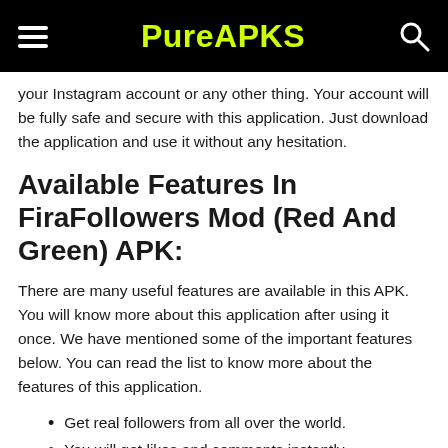PureAPKS
your Instagram account or any other thing. Your account will be fully safe and secure with this application. Just download the application and use it without any hesitation.
Available Features In FiraFollowers Mod (Red And Green) APK:
There are many useful features are available in this APK. You will know more about this application after using it once. We have mentioned some of the important features below. You can read the list to know more about the features of this application.
Get real followers from all over the world.
You will get likes and comments instantly.
It will boost your post likes, comments, and shares.
Work smoothly on all android devices.